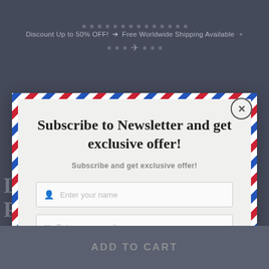Discount Up to 50% OFF! → Free Worldwide Shipping Available
Subscribe to Newsletter and get exclusive offer!
Subscribe and get exclusive offer!
Enter your name
Enter your e-mail
Subscribe →
No SAPM! We not share your email to any 3rd part companies!
ADD TO CART